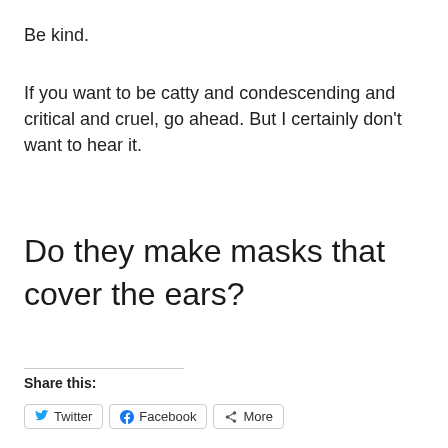Be kind.
If you want to be catty and condescending and critical and cruel, go ahead. But I certainly don't want to hear it.
Do they make masks that cover the ears?
Share this:
Twitter   Facebook   More